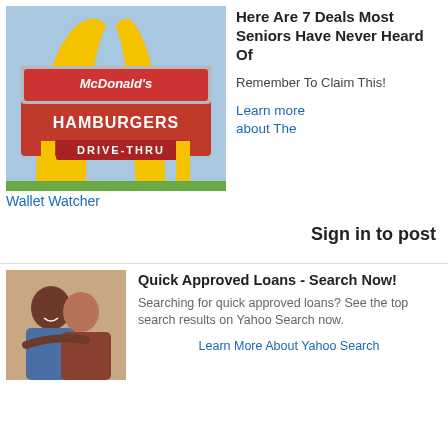[Figure (photo): McDonald's Hamburgers Drive-Thru vintage sign with golden arches against blue sky]
Here Are 7 Deals Most Seniors Have Never Heard Of
Remember To Claim This!
Learn more about The
Wallet Watcher
Sign in to post
[Figure (photo): Happy couple smiling and embracing]
Quick Approved Loans - Search Now!
Searching for quick approved loans? See the top search results on Yahoo Search now.
Learn More About Yahoo Search